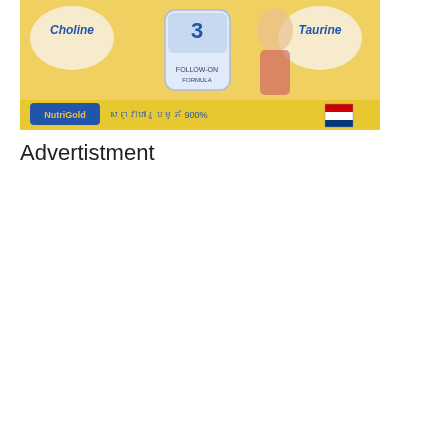[Figure (illustration): NutriGold baby formula advertisement banner with yellow background. Shows text 'Choline' on the left and 'Taurine' on the right, a formula tin with '3' label in the center, a toddler child in the background, and NutriGold logo with non-Latin text and Dutch flag at the bottom.]
Advertistment